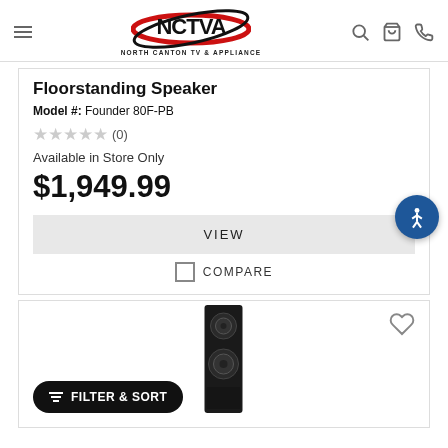North Canton TV & Appliance - NCTVA
Floorstanding Speaker
Model #: Founder 80F-PB
★★★★★ (0)
Available in Store Only
$1,949.99
VIEW
COMPARE
[Figure (photo): Black floorstanding speaker product image]